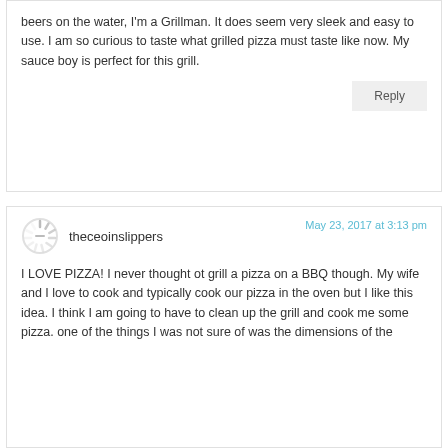beers on the water, I'm a Grillman. It does seem very sleek and easy to use. I am so curious to taste what grilled pizza must taste like now. My sauce boy is perfect for this grill.
Reply
May 23, 2017 at 3:13 pm
theceoinslippers
I LOVE PIZZA! I never thought ot grill a pizza on a BBQ though. My wife and I love to cook and typically cook our pizza in the oven but I like this idea. I think I am going to have to clean up the grill and cook me some pizza. one of the things I was not sure of was the dimensions of the